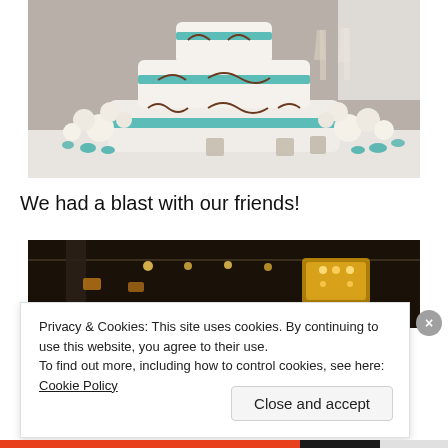[Figure (photo): A tiered white wedding cake decorated with teal ribbons and brown scrollwork, surrounded by white roses and teal flower petals on a table with champagne glasses in the background.]
We had a blast with our friends!
[Figure (photo): Dark reception hall interior with warm golden chandelier lights visible, taken in dim lighting.]
Privacy & Cookies: This site uses cookies. By continuing to use this website, you agree to their use.
To find out more, including how to control cookies, see here: Cookie Policy
Close and accept